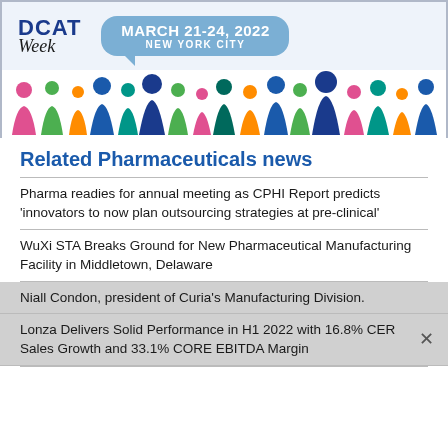[Figure (illustration): DCAT Week banner with logo on left, speech bubble showing 'MARCH 21-24, 2022 NEW YORK CITY' on right, and colorful silhouettes of people along the bottom]
Related Pharmaceuticals news
Pharma readies for annual meeting as CPHI Report predicts 'innovators to now plan outsourcing strategies at pre-clinical'
WuXi STA Breaks Ground for New Pharmaceutical Manufacturing Facility in Middletown, Delaware
Niall Condon, president of Curia's Manufacturing Division.
Lonza Delivers Solid Performance in H1 2022 with 16.8% CER Sales Growth and 33.1% CORE EBITDA Margin